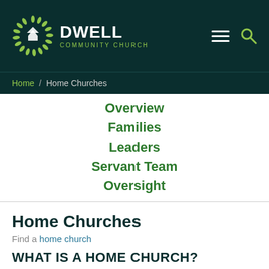[Figure (logo): Dwell Community Church logo with circular green leaf icon and white text]
Home / Home Churches
Overview
Families
Leaders
Servant Team
Oversight
Home Churches
Find a home church
WHAT IS A HOME CHURCH?